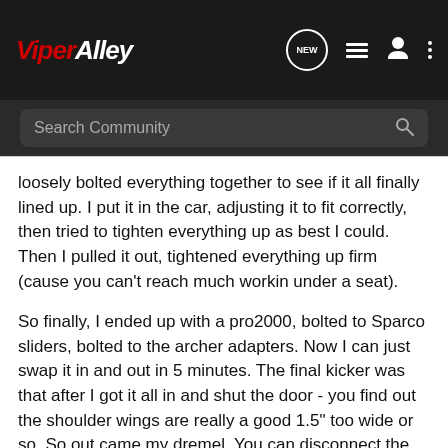ViperAlley
Search Community
loosely bolted everything together to see if it all finally lined up. I put it in the car, adjusting it to fit correctly, then tried to tighten everything up as best I could. Then I pulled it out, tightened everything up firm (cause you can't reach much workin under a seat).
So finally, I ended up with a pro2000, bolted to Sparco sliders, bolted to the archer adapters. Now I can just swap it in and out in 5 minutes. The final kicker was that after I got it all in and shut the door - you find out the shoulder wings are really a good 1.5" too wide or so. So out came my dremel. You can disconnect the spring that holds the seat cover on and get enough slack to flip the cover off the shoulder wing. I then dremeled off the edge (this is all with the seat out of the car btw) and then put the cover back on and reconnected the